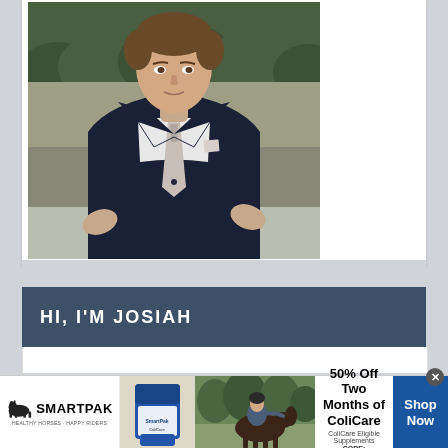[Figure (photo): Young man in dark navy blazer with patterned tie and pocket square, standing in a field with trees in background. Professional/formal portrait photo.]
HI, I'M JOSIAH
[Figure (infographic): SmartPak advertisement banner: SmartPak logo on left with horse icon and tagline 'Healthy Horses Happy Riders', product image in center-left, horse and rider photo in center, text '50% Off Two Months of ColiCare, ColiCare Eligible Supplements, CODE: COLICARE10', blue 'Shop Now' button on right.]